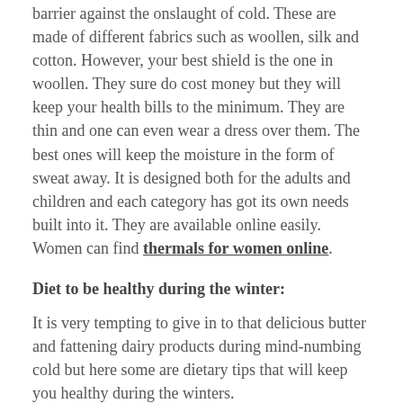barrier against the onslaught of cold. These are made of different fabrics such as woollen, silk and cotton. However, your best shield is the one in woollen. They sure do cost money but they will keep your health bills to the minimum. They are thin and one can even wear a dress over them. The best ones will keep the moisture in the form of sweat away. It is designed both for the adults and children and each category has got its own needs built into it. They are available online easily. Women can find thermals for women online.
Diet to be healthy during the winter:
It is very tempting to give in to that delicious butter and fattening dairy products during mind-numbing cold but here some are dietary tips that will keep you healthy during the winters.
Dried Fruits: fruits like figs and dates can help your